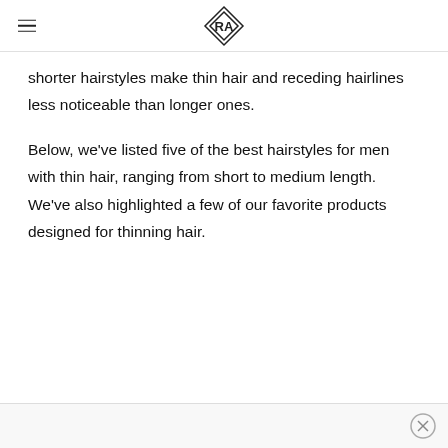RA logo and hamburger menu
shorter hairstyles make thin hair and receding hairlines less noticeable than longer ones.
Below, we've listed five of the best hairstyles for men with thin hair, ranging from short to medium length. We've also highlighted a few of our favorite products designed for thinning hair.
Advertisement close button